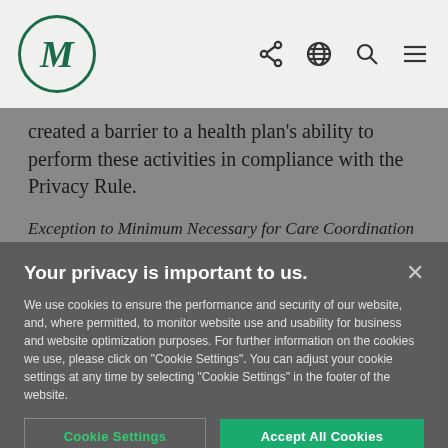M (logo)
created a barrier to a health plan's ability to perform these activities in compliance with the Privacy Rule.
Exception to Minimum Necessary for Care Coordination
Your privacy is important to us.
We use cookies to ensure the performance and security of our website, and, where permitted, to monitor website use and usability for business and website optimization purposes. For further information on the cookies we use, please click on "Cookie Settings". You can adjust your cookie settings at any time by selecting "Cookie Settings" in the footer of the website.
Cookie Settings | Accept All Cookies